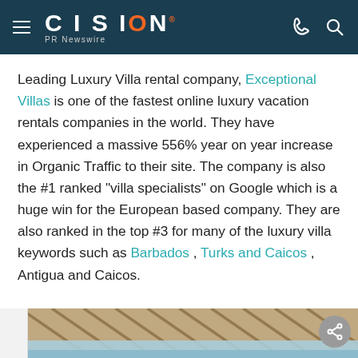CISION PR Newswire
Leading Luxury Villa rental company, Exceptional Villas is one of the fastest online luxury vacation rentals companies in the world. They have experienced a massive 556% year on year increase in Organic Traffic to their site. The company is also the #1 ranked "villa specialists" on Google which is a huge win for the European based company. They are also ranked in the top #3 for many of the luxury villa keywords such as Barbados , Turks and Caicos , Antigua and Caicos.
[Figure (photo): Bottom strip showing a thatched or wooden roof/trellis structure with blue sky or water below, partially visible at the bottom of the page.]